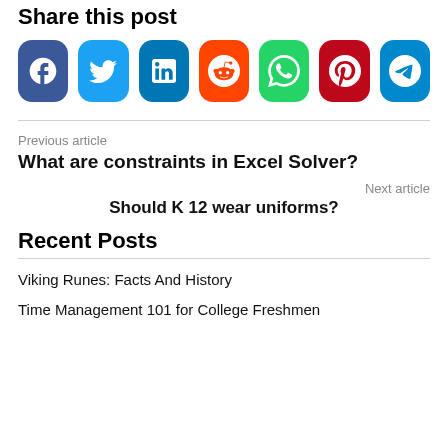Share this post
[Figure (other): Social share buttons: Facebook, Twitter, LinkedIn, Reddit, WhatsApp, Pinterest, Telegram]
Previous article
What are constraints in Excel Solver?
Next article
Should K 12 wear uniforms?
Recent Posts
Viking Runes: Facts And History
Time Management 101 for College Freshmen